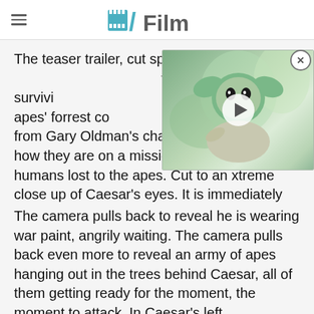/Film
[Figure (screenshot): Video thumbnail overlay showing Baby Yoda (Grogu) character with a play button, positioned in the upper right of the article content area. A close (X) button appears in the top right corner.]
The teaser trailer, cut specifically for features shots of the survivors entering the apes' forrest coming in with a voiceover from Gary Oldman's character talking about how they are on a mission to reclaim the land humans lost to the apes. Cut to an xtreme close up of Caesar's eyes. It is immediately clear he is older, wiser, and very unhappy.
The camera pulls back to reveal he is wearing war paint, angrily waiting. The camera pulls back even more to reveal an army of apes hanging out in the trees behind Caesar, all of them getting ready for the moment, the moment to attack. In Caesar's left